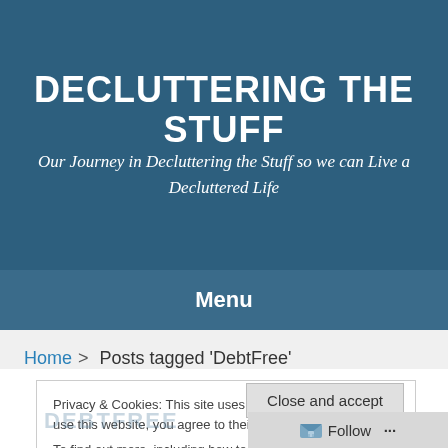DECLUTTERING THE STUFF
Our Journey in Decluttering the Stuff so we can Live a Decluttered Life
Menu
Home > Posts tagged 'DebtFree'
Privacy & Cookies: This site uses cookies. By continuing to use this website, you agree to their use. To find out more, including how to control cookies, see here: Cookie Policy
Close and accept
Follow